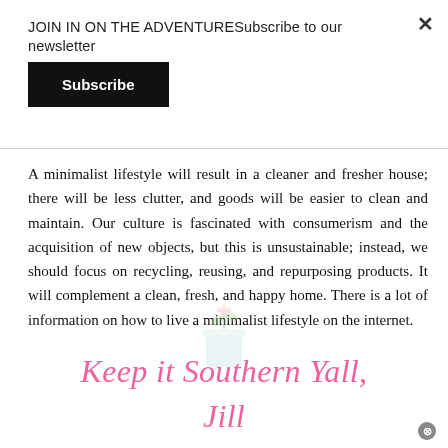JOIN IN ON THE ADVENTURESubscribe to our newsletter
Subscribe
A minimalist lifestyle will result in a cleaner and fresher house; there will be less clutter, and goods will be easier to clean and maintain. Our culture is fascinated with consumerism and the acquisition of new objects, but this is unsustainable; instead, we should focus on recycling, reusing, and repurposing products. It will complement a clean, fresh, and happy home. There is a lot of information on how to live a minimalist lifestyle on the internet.
[Figure (logo): Keep it Southern Yall, Jill script logo with floral mason jar decoration in pink cursive script]